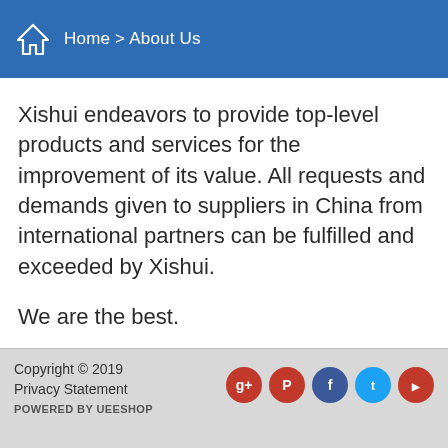Home > About Us
Xishui endeavors to provide top-level products and services for the improvement of its value. All requests and demands given to suppliers in China from international partners can be fulfilled and exceeded by Xishui.
We are the best.
Copyright © 2019
Privacy Statement
POWERED BY UEESHOP